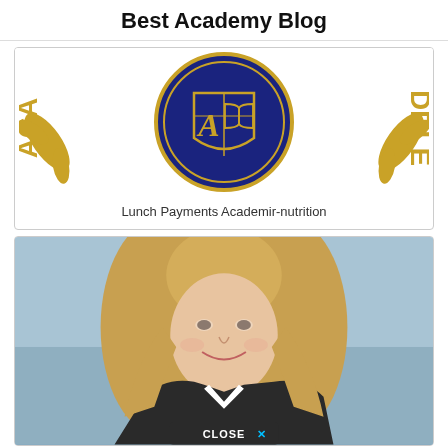Best Academy Blog
[Figure (logo): Academy school logo — circular dark navy blue emblem with gold letter A and open book on a shield, surrounded by gold laurel/wheat decorative elements. Text 'ACA...' and '...DDLE' visible on sides.]
Lunch Payments Academir-nutrition
[Figure (photo): Portrait photo of a woman with long blonde hair, smiling, wearing a dark jacket with white shirt/blouse, against a light blue background. A dark 'CLOSE X' button appears at the bottom center.]